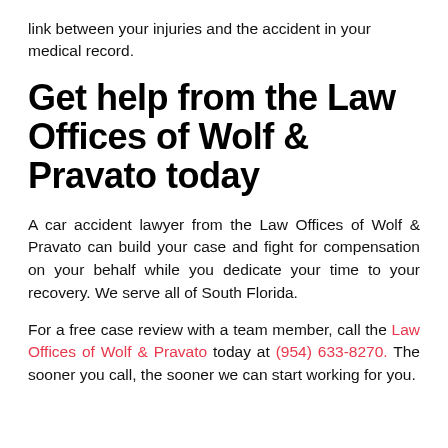link between your injuries and the accident in your medical record.
Get help from the Law Offices of Wolf & Pravato today
A car accident lawyer from the Law Offices of Wolf & Pravato can build your case and fight for compensation on your behalf while you dedicate your time to your recovery. We serve all of South Florida.
For a free case review with a team member, call the Law Offices of Wolf & Pravato today at (954) 633-8270. The sooner you call, the sooner we can start working for you.